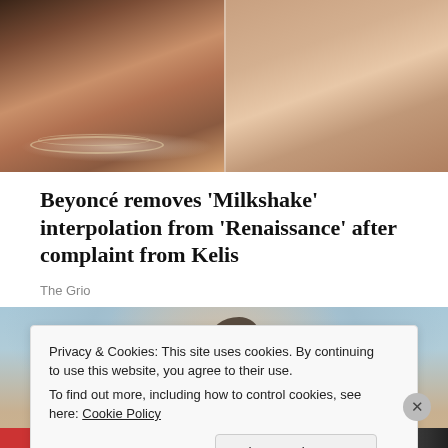[Figure (photo): Two women photographed together — one on the left with darker skin, braided hair and layered necklaces; one on the right with lighter skin and straight auburn hair. Photo is cropped to show faces and upper torsos.]
Beyoncé removes 'Milkshake' interpolation from 'Renaissance' after complaint from Kelis
The Grio
[Figure (photo): Close-up photo of a person with curly highlighted hair styled in an updo, photographed against a light blue background. The face is slightly downcast.]
Privacy & Cookies: This site uses cookies. By continuing to use this website, you agree to their use.
To find out more, including how to control cookies, see here: Cookie Policy
Close and accept